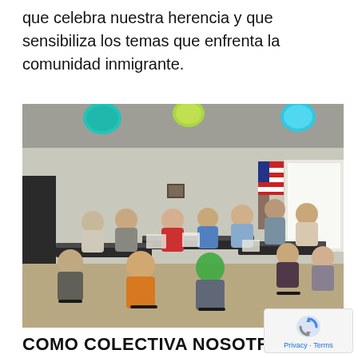que celebra nuestra herencia y que sensibiliza los temas que enfrenta la comunidad inmigrante.
[Figure (photo): Group of approximately 15 people seated around tables arranged in a U-shape in a meeting room, engaged in discussion. Colorful paper lanterns hang from the ceiling (teal, green, turquoise). An American flag and a whiteboard are visible in the background.]
COMO COLECTIVA NOSOTROS: